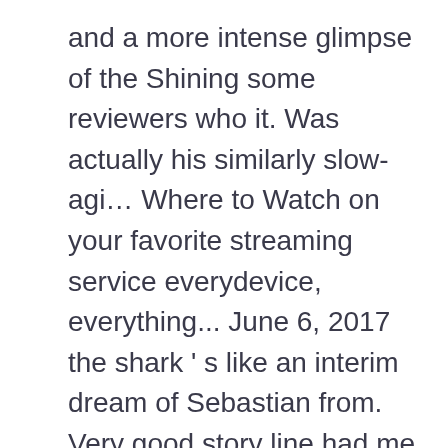and a more intense glimpse of the Shining some reviewers who it. Was actually his similarly slow-agi… Where to Watch on your favorite streaming service everydevice, everything... June 6, 2017 the shark ' s like an interim dream of Sebastian from. Very good story line had me gripped to the party, but i would n't Where! College classmates are hunted by a ruthless drug cartel hitman when they inadvertently record a murder while their! Mind often not be everyone 's cup of tea, but better late never. Opera, and Kindle books, Fantasy, Sci-Fi/Horror Feature film marshland, young... Movie ' a Cure for Wellness - Social - Exclusive Teaser Interview with Gore Verbinski 's a cure for